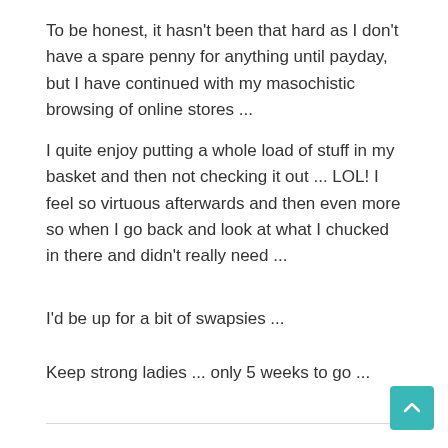To be honest, it hasn't been that hard as I don't have a spare penny for anything until payday, but I have continued with my masochistic browsing of online stores ...
I quite enjoy putting a whole load of stuff in my basket and then not checking it out ... LOL! I feel so virtuous afterwards and then even more so when I go back and look at what I chucked in there and didn't really need ...
I'd be up for a bit of swapsies ...
Keep strong ladies ... only 5 weeks to go ...
Reply
[Figure (logo): Decorative avatar icon with geometric snowflake/mandala pattern in teal/cyan color]
MEGHAN
JANUARY 21, 2011 AT 8:04 PM
Whew another week down! I am getting seriously low on Kona, but hopefully I can manage. Was there a consensus of